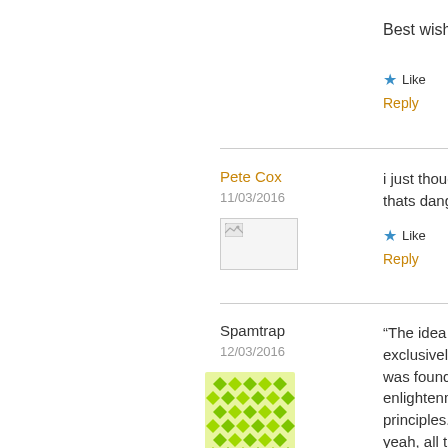Best wishes, L
Like
Reply
Pete Cox
11/03/2016
i just thought thats dangero
Like
Reply
Spamtrap
12/03/2016
“The idea that exclusively Jud was founded o enlightenment principles. ” yeah, all those scientists, gen